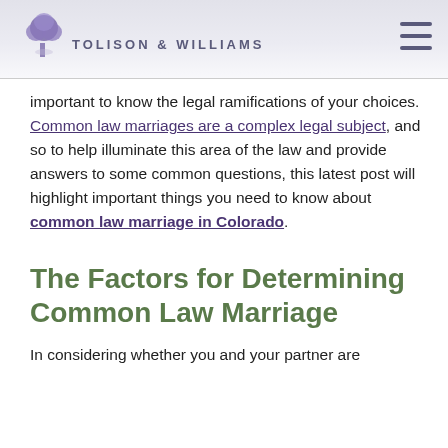Tolison & Williams
important to know the legal ramifications of your choices. Common law marriages are a complex legal subject, and so to help illuminate this area of the law and provide answers to some common questions, this latest post will highlight important things you need to know about common law marriage in Colorado.
The Factors for Determining Common Law Marriage
In considering whether you and your partner are